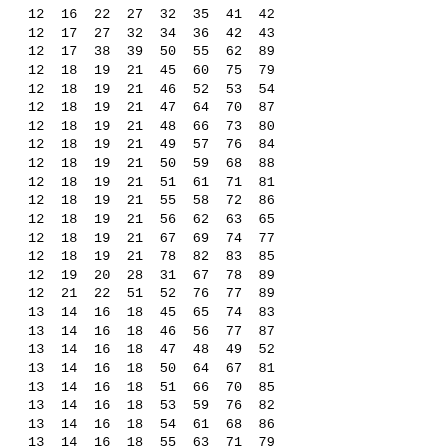| 12 | 16 | 22 | 27 | 32 | 35 | 41 | 42 |
| 12 | 17 | 27 | 32 | 34 | 36 | 42 | 43 |
| 12 | 17 | 38 | 39 | 50 | 55 | 62 | 89 |
| 12 | 18 | 19 | 21 | 45 | 60 | 75 | 79 |
| 12 | 18 | 19 | 21 | 46 | 52 | 53 | 54 |
| 12 | 18 | 19 | 21 | 47 | 64 | 70 | 87 |
| 12 | 18 | 19 | 21 | 48 | 66 | 73 | 80 |
| 12 | 18 | 19 | 21 | 49 | 57 | 76 | 84 |
| 12 | 18 | 19 | 21 | 50 | 59 | 68 | 88 |
| 12 | 18 | 19 | 21 | 51 | 61 | 71 | 81 |
| 12 | 18 | 19 | 21 | 55 | 58 | 72 | 86 |
| 12 | 18 | 19 | 21 | 56 | 62 | 63 | 65 |
| 12 | 18 | 19 | 21 | 67 | 69 | 74 | 77 |
| 12 | 18 | 19 | 21 | 78 | 82 | 83 | 85 |
| 12 | 19 | 20 | 28 | 31 | 67 | 78 | 89 |
| 12 | 21 | 22 | 51 | 52 | 76 | 77 | 89 |
| 13 | 14 | 16 | 18 | 45 | 65 | 74 | 83 |
| 13 | 14 | 16 | 18 | 46 | 56 | 77 | 87 |
| 13 | 14 | 16 | 18 | 47 | 48 | 49 | 52 |
| 13 | 14 | 16 | 18 | 50 | 64 | 67 | 81 |
| 13 | 14 | 16 | 18 | 51 | 66 | 70 | 85 |
| 13 | 14 | 16 | 18 | 53 | 59 | 76 | 82 |
| 13 | 14 | 16 | 18 | 54 | 61 | 68 | 86 |
| 13 | 14 | 16 | 18 | 55 | 63 | 71 | 79 |
| 13 | 14 | 16 | 18 | 57 | 58 | 60 | 62 |
| 13 | 14 | 16 | 18 | 69 | 72 | 73 | 75 |
| 13 | 14 | 16 | 18 | 78 | 80 | 84 | 88 |
| 13 | 14 | 16 | 38 | 44 | 51 | 67 | 89 |
| 13 | 15 | 16 | 30 | 32 | 34 | 39 | 44 |
| 13 | 15 | 19 | 24 | 42 | 53 | 68 | 89 |